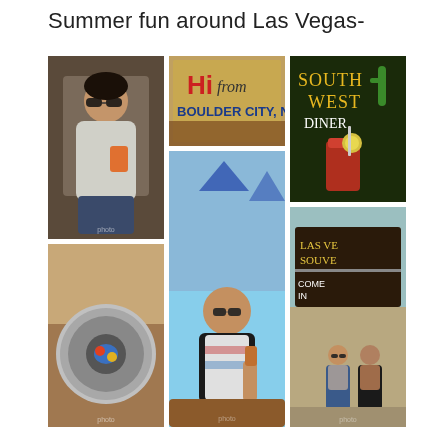Summer fun around Las Vegas-
[Figure (photo): Collage of 6 photos showing summer fun around Las Vegas. Top-left: woman with dark hair and sunglasses holding an orange drink. Bottom-left: decorative circular dish/plate. Center-top: Hi From Boulder City, NV sign. Center-bottom: man in vest and colorful shirt holding a drink at an outdoor table. Top-right: Southwest Diner sign with a red drink. Bottom-right: Las Vegas Souvenirs shop exterior with two people standing outside.]